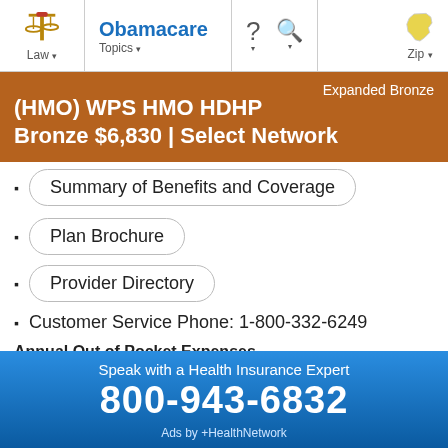Law | Obamacare Topics | ? | Search | Zip
(HMO) WPS HMO HDHP Bronze $6,830 | Select Network — Expanded Bronze
Summary of Benefits and Coverage
Plan Brochure
Provider Directory
Customer Service Phone: 1-800-332-6249
Annual Out of Pocket Expenses
| Individual | Family |
| --- | --- |
Speak with a Health Insurance Expert
800-943-6832
Ads by +HealthNetwork